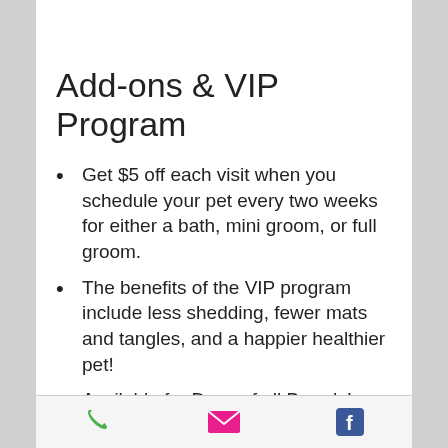Add-ons & VIP Program
Get $5 off each visit when you schedule your pet every two weeks for either a bath, mini groom, or full groom.
The benefits of the VIP program include less shedding, fewer mats and tangles, and a happier healthier pet!
Available for Dogs of all Breeds!
For more information, pick up